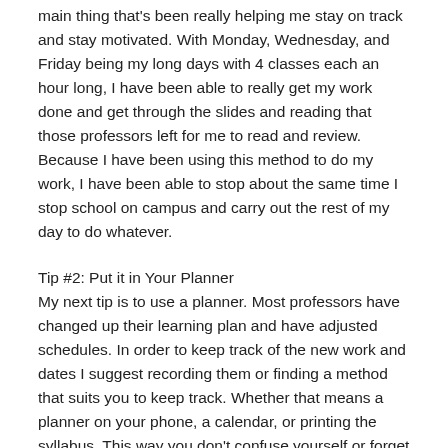main thing that's been really helping me stay on track and stay motivated. With Monday, Wednesday, and Friday being my long days with 4 classes each an hour long, I have been able to really get my work done and get through the slides and reading that those professors left for me to read and review. Because I have been using this method to do my work, I have been able to stop about the same time I stop school on campus and carry out the rest of my day to do whatever.
Tip #2: Put it in Your Planner
My next tip is to use a planner. Most professors have changed up their learning plan and have adjusted schedules. In order to keep track of the new work and dates I suggest recording them or finding a method that suits you to keep track. Whether that means a planner on your phone, a calendar, or printing the syllabus. This way you don't confuse yourself or forget about tests or assignments without the professor reminding us when